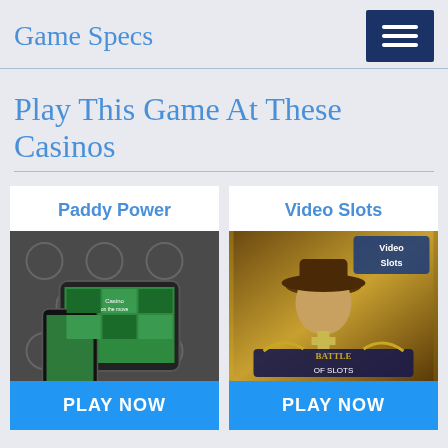Game Specs
Play This Game At These Casinos
Paddy Power
[Figure (screenshot): Paddy Power casino app screenshot showing mobile devices with casino games interface on dark grey background]
PLAY NOW
Video Slots
[Figure (screenshot): Video Slots casino promotional image showing Battle of Slots game with character in cowboy hat and golden badge logo]
PLAY NOW